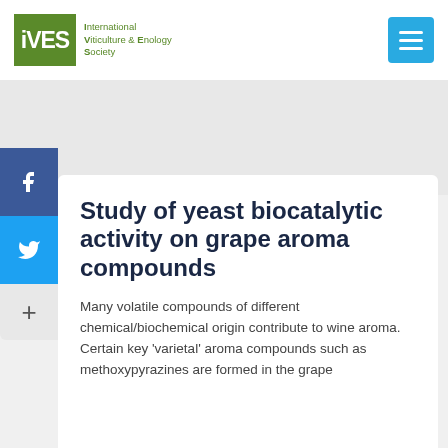IVES – International Viticulture & Enology Society
Study of yeast biocatalytic activity on grape aroma compounds
Many volatile compounds of different chemical/biochemical origin contribute to wine aroma. Certain key 'varietal' aroma compounds such as methoxypyrazines are formed in the grape